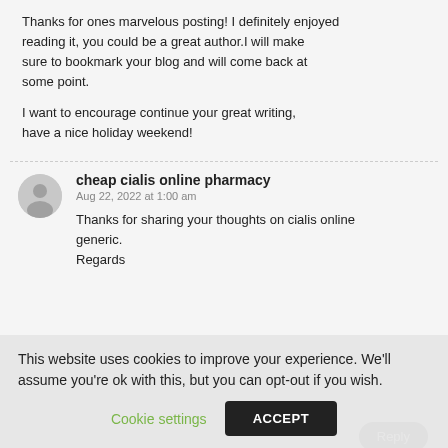Thanks for ones marvelous posting! I definitely enjoyed reading it, you could be a great author.I will make sure to bookmark your blog and will come back at some point.

I want to encourage continue your great writing, have a nice holiday weekend!
cheap cialis online pharmacy
Aug 22, 2022 at 1:00 am
Thanks for sharing your thoughts on cialis online generic.
Regards
This website uses cookies to improve your experience. We'll assume you're ok with this, but you can opt-out if you wish.
Cookie settings
ACCEPT